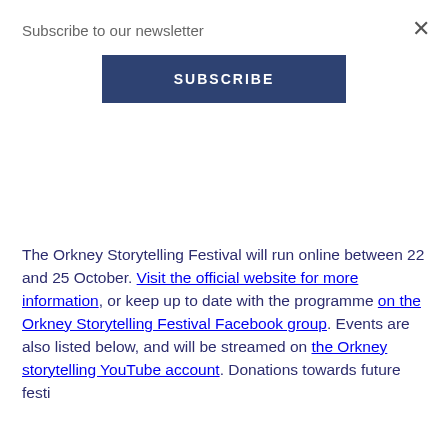Subscribe to our newsletter
SUBSCRIBE
The Orkney Storytelling Festival will run online between 22 and 25 October. Visit the official website for more information, or keep up to date with the programme on the Orkney Storytelling Festival Facebook group. Events are also listed below, and will be streamed on the Orkney storytelling YouTube account. Donations towards future festi
Thu
Stor
shar
This website uses cookies to ensure you get the best experience on our website.
Learn more
Got it!
Frid
19::
Orkney storyteller Tom Muir takes you on a journey around